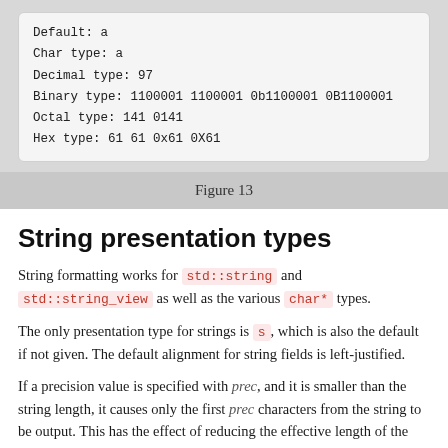[Figure (screenshot): Code output block showing Default: a, Char type: a, Decimal type: 97, Binary type: 1100001 1100001 0b1100001 0B1100001, Octal type: 141 0141, Hex type: 61 61 0x61 0X61]
Figure 13
String presentation types
String formatting works for std::string and std::string_view as well as the various char* types.
The only presentation type for strings is s, which is also the default if not given. The default alignment for string fields is left-justified.
If a precision value is specified with prec, and it is smaller than the string length, it causes only the first prec characters from the string to be output. This has the effect of reducing the effective length of the string when checking against any width parameter.
Listing 15 shows examples of outputting various types of string, as